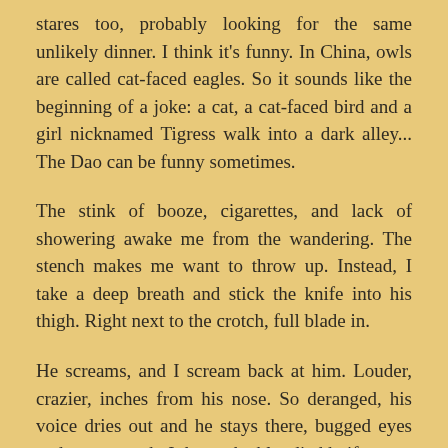stares too, probably looking for the same unlikely dinner. I think it's funny. In China, owls are called cat-faced eagles. So it sounds like the beginning of a joke: a cat, a cat-faced bird and a girl nicknamed Tigress walk into a dark alley... The Dao can be funny sometimes.
The stink of booze, cigarettes, and lack of showering awake me from the wandering. The stench makes me want to throw up. Instead, I take a deep breath and stick the knife into his thigh. Right next to the crotch, full blade in.
He screams, and I scream back at him. Louder, crazier, inches from his nose. So deranged, his voice dries out and he stays there, bugged eyes and open mouth. I throw the bloodied knife away and